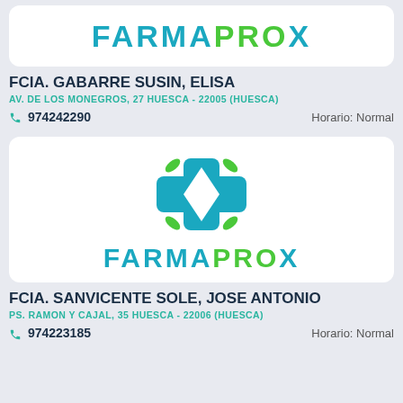[Figure (logo): FARMAPRO logo text partially visible at top of page]
FCIA. GABARRE SUSIN, ELISA
AV. DE LOS MONEGROS, 27 HUESCA - 22005 (HUESCA)
974242290   Horario: Normal
[Figure (logo): FARMAPRO full logo with icon (cross/leaf design) and text]
FCIA. SANVICENTE SOLE, JOSE ANTONIO
PS. RAMON Y CAJAL, 35 HUESCA - 22006 (HUESCA)
974223185   Horario: Normal